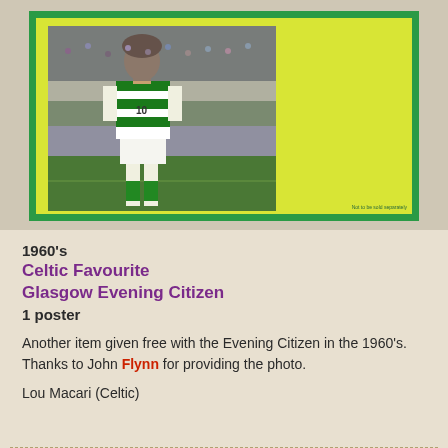[Figure (photo): A vintage football poster with a yellow-green background and green border, featuring a photo of a Celtic FC player (Lou Macari) in green and white hooped shirt and white shorts, running on the pitch with a crowd in the background.]
1960's
Celtic Favourite
Glasgow Evening Citizen
1 poster
Another item given free with the Evening Citizen in the 1960's. Thanks to John Flynn for providing the photo.
Lou Macari (Celtic)